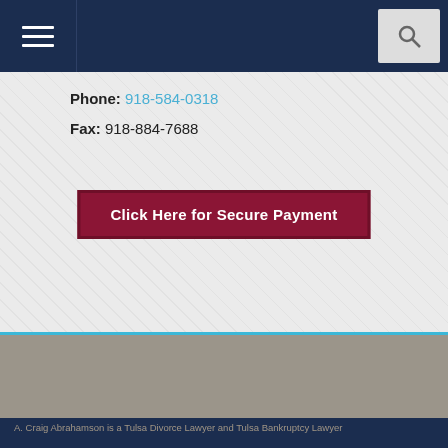[Figure (screenshot): Dark navy navigation bar with hamburger menu icon on left and search icon button on right]
Phone: 918-584-0318
Fax: 918-884-7688
[Figure (other): Dark red/crimson button reading 'Click Here for Secure Payment']
[Figure (logo): A. Craig Abrahamson Attorney at Law logo with large white A on gray background]
[Figure (other): Social media icons: Facebook, Twitter, LinkedIn, and two others]
918-584-0318
A. Craig Abrahamson is a Tulsa Divorce Lawyer and Tulsa Bankruptcy Lawyer